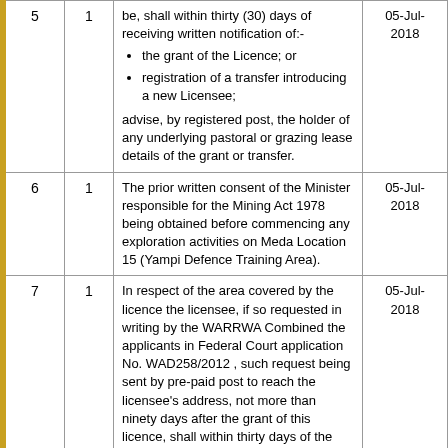| # | Sub | Condition | Date |
| --- | --- | --- | --- |
| 5 | 1 | be, shall within thirty (30) days of receiving written notification of:- the grant of the Licence; or registration of a transfer introducing a new Licensee; advise, by registered post, the holder of any underlying pastoral or grazing lease details of the grant or transfer. | 05-Jul-2018 |
| 6 | 1 | The prior written consent of the Minister responsible for the Mining Act 1978 being obtained before commencing any exploration activities on Meda Location 15 (Yampi Defence Training Area). | 05-Jul-2018 |
| 7 | 1 | In respect of the area covered by the licence the licensee, if so requested in writing by the WARRWA Combined the applicants in Federal Court application No. WAD258/2012 , such request being sent by pre-paid post to reach the licensee's address, not more than ninety days after the grant of this licence, shall within thirty days of the request execute in favour of the WARRWA Combined the Regional Standard Heritage Agreement ("RSHA") endorsed by peak industry groups (e.g. the South | 05-Jul-2018 |